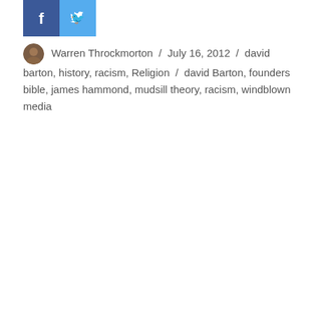[Figure (logo): Facebook and Twitter social media share icons]
Warren Throckmorton / July 16, 2012 / david barton, history, racism, Religion / david Barton, founders bible, james hammond, mudsill theory, racism, windblown media